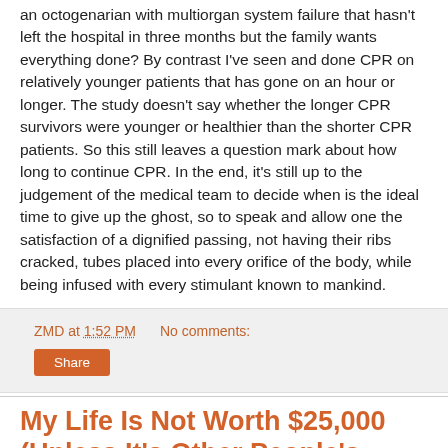an octogenarian with multiorgan system failure that hasn't left the hospital in three months but the family wants everything done? By contrast I've seen and done CPR on relatively younger patients that has gone on an hour or longer. The study doesn't say whether the longer CPR survivors were younger or healthier than the shorter CPR patients. So this still leaves a question mark about how long to continue CPR. In the end, it's still up to the judgement of the medical team to decide when is the ideal time to give up the ghost, so to speak and allow one the satisfaction of a dignified passing, not having their ribs cracked, tubes placed into every orifice of the body, while being infused with every stimulant known to mankind.
ZMD at 1:52 PM   No comments:
Share
My Life Is Not Worth $25,000 (Unless It's Other People's Money).